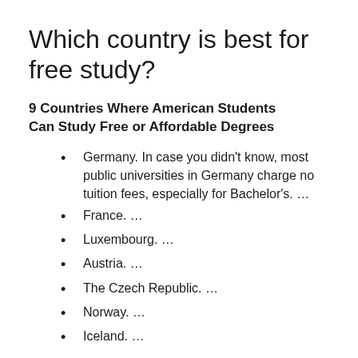Which country is best for free study?
9 Countries Where American Students Can Study Free or Affordable Degrees
Germany. In case you didn't know, most public universities in Germany charge no tuition fees, especially for Bachelor's. …
France. …
Luxembourg. …
Austria. …
The Czech Republic. …
Norway. …
Iceland. …